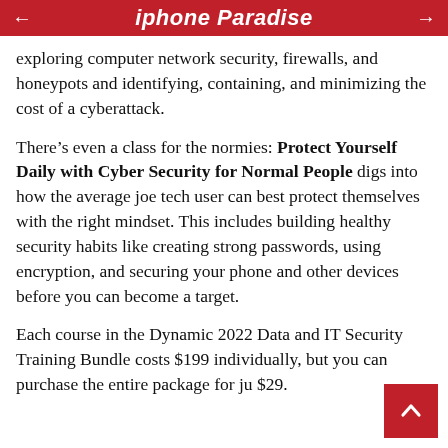iphone Paradise
exploring computer network security, firewalls, and honeypots and identifying, containing, and minimizing the cost of a cyberattack.
There’s even a class for the normies: Protect Yourself Daily with Cyber Security for Normal People digs into how the average joe tech user can best protect themselves with the right mindset. This includes building healthy security habits like creating strong passwords, using encryption, and securing your phone and other devices before you can become a target.
Each course in the Dynamic 2022 Data and IT Security Training Bundle costs $199 individually, but you can purchase the entire package for just $29.